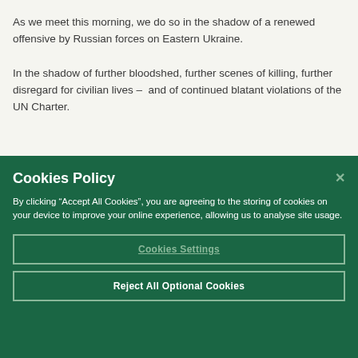As we meet this morning, we do so in the shadow of a renewed offensive by Russian forces on Eastern Ukraine.
In the shadow of further bloodshed, further scenes of killing, further disregard for civilian lives –  and of continued blatant violations of the UN Charter.
Cookies Policy
By clicking “Accept All Cookies”, you are agreeing to the storing of cookies on your device to improve your online experience, allowing us to analyse site usage.
Cookies Settings
Reject All Optional Cookies